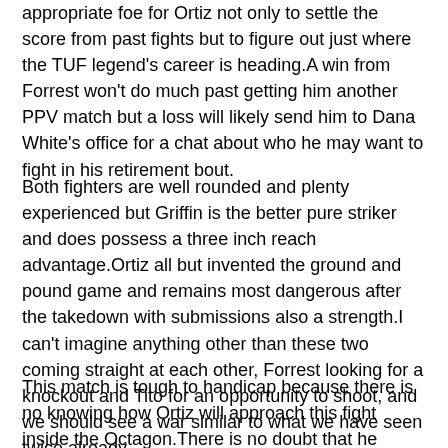appropriate foe for Ortiz not only to settle the score from past fights but to figure out just where the TUF legend's career is heading.A win from Forrest won't do much past getting him another PPV match but a loss will likely send him to Dana White's office for a chat about who he may want to fight in his retirement bout.
Both fighters are well rounded and plenty experienced but Griffin is the better pure striker and does possess a three inch reach advantage.Ortiz all but invented the ground and pound game and remains most dangerous after the takedown with submissions also a strength.I can't imagine anything other than these two coming straight at each other, Forrest looking for a knockout and Tito for an opportunity to shoot, and we should see a war similar to what we have seen twice already.
This match is tough to handicap because there is no knowing how Ortiz will approach this fight inside the Octagon.There is no doubt that he wants to win his last fight but will that lead to taking some greater risks and maybe getting caught by a very capable striker?Griffin has his back against the wall and